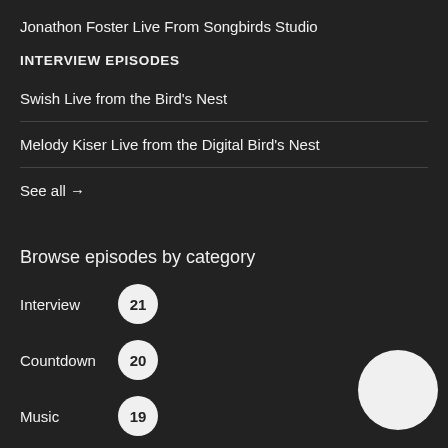Jonathon Foster Live From Songbirds Studio
INTERVIEW EPISODES
Swish Live from the Bird's Nest
Melody Kiser Live from the Digital Bird's Nest
See all →
Browse episodes by category
Interview 21
Countdown 20
Music 19